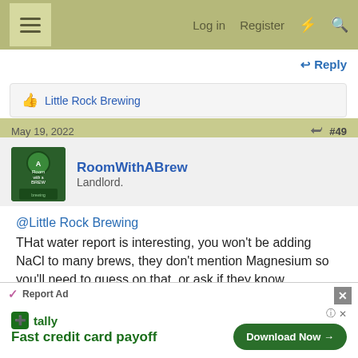Log in  Register
Reply
Little Rock Brewing
May 19, 2022  #49
RoomWithABrew
Landlord.
@Little Rock Brewing
THat water report is interesting, you won't be adding NaCl to many brews, they don't mention Magnesium so you'll need to guess on that, or ask if they know.

Another option rather than RO would be RW ( rain
Report Ad
Fast credit card payoff  Download Now